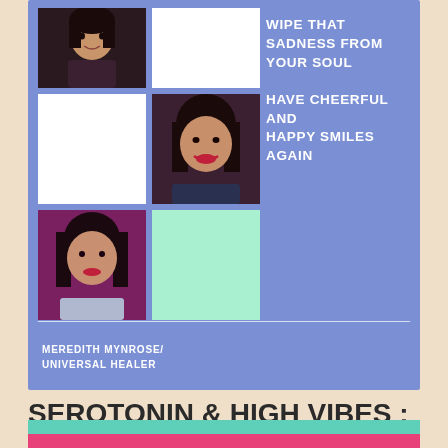[Figure (photo): Blue card with photo grid (6 cells: dark portrait, white block, white block, smiling woman portrait, purple-background woman portrait, mint green block) and motivational text on right side]
WIPE THAT SADNESS FROM YOUR SOUL

HAVE CHEERFUL AND HAPPY SMILES AGAIN
MEREDITH MYNROSE/ UNIVERSAL HEALER
SEROTONIN & HIGH VIBES : Achieve Your Dream Goals!
[Figure (other): Teal and pink horizontal bars at bottom of page]